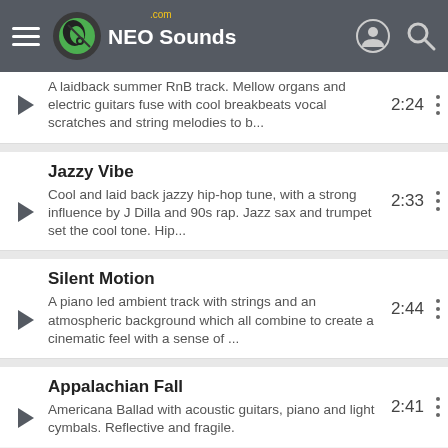NEO Sounds .com
A laidback summer RnB track. Mellow organs and electric guitars fuse with cool breakbeats vocal scratches and string melodies to b... 2:24
Jazzy Vibe
Cool and laid back jazzy hip-hop tune, with a strong influence by J Dilla and 90s rap. Jazz sax and trumpet set the cool tone. Hip... 2:33
Silent Motion
A piano led ambient track with strings and an atmospheric background which all combine to create a cinematic feel with a sense of ... 2:44
Appalachian Fall
Americana Ballad with acoustic guitars, piano and light cymbals. Reflective and fragile. 2:41